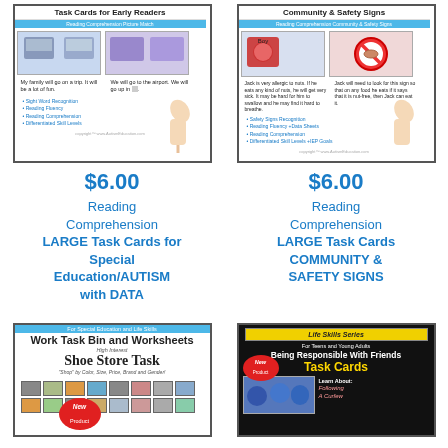[Figure (illustration): Product thumbnail for Reading Comprehension Task Cards for Early Readers - shows task card with text and images, hand pointing]
$6.00
Reading Comprehension LARGE Task Cards for Special Education/AUTISM with DATA
[Figure (illustration): Product thumbnail for Community & Safety Signs reading comprehension - shows task card with boy photo and no-nuts sign, hand pointing]
$6.00
Reading Comprehension LARGE Task Cards COMMUNITY & SAFETY SIGNS
[Figure (illustration): Product thumbnail for Work Task Bin and Worksheets - Shoe Store Task, with New Product badge]
[Figure (illustration): Product thumbnail for Life Skills Series - Being Responsible With Friends Task Cards, with New Product badge]